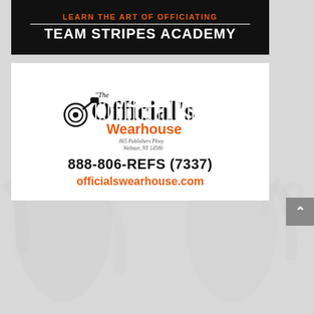[Figure (infographic): Team Stripes Academy banner with orange text 'LEARN THE ART OF OFFICIATING' above white text 'TEAM STRIPES ACADEMY' on a dark background]
[Figure (logo): The Official's Wearhouse logo with striped lettering and whistle graphic, address: 865 Publishers Pkwy, Webster, NY 14580, phone: 888-806-REFS (7337), website: officialswearhouse.com]